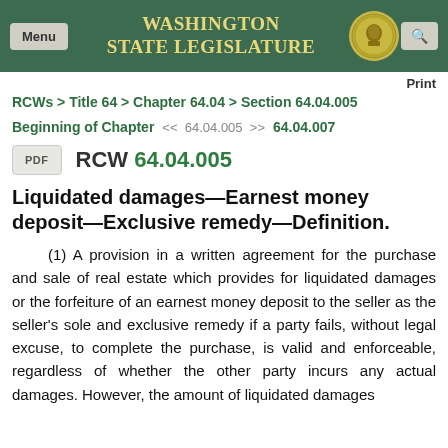Washington State Legislature
Print
RCWs > Title 64 > Chapter 64.04 > Section 64.04.005
Beginning of Chapter  <<  64.04.005  >>  64.04.007
PDF  RCW 64.04.005
Liquidated damages—Earnest money deposit—Exclusive remedy—Definition.
(1) A provision in a written agreement for the purchase and sale of real estate which provides for liquidated damages or the forfeiture of an earnest money deposit to the seller as the seller's sole and exclusive remedy if a party fails, without legal excuse, to complete the purchase, is valid and enforceable, regardless of whether the other party incurs any actual damages. However, the amount of liquidated damages